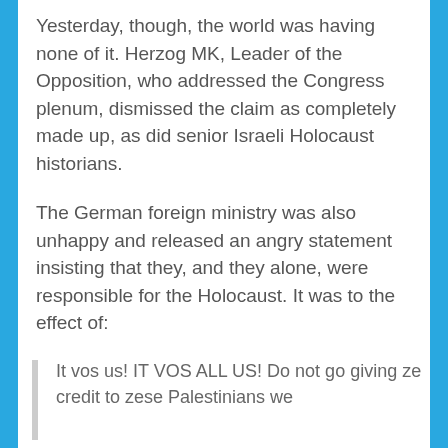Yesterday, though, the world was having none of it. Herzog MK, Leader of the Opposition, who addressed the Congress plenum, dismissed the claim as completely made up, as did senior Israeli Holocaust historians.
The German foreign ministry was also unhappy and released an angry statement insisting that they, and they alone, were responsible for the Holocaust. It was to the effect of:
It vos us! IT VOS ALL US! Do not go giving ze credit to zese Palestinians we